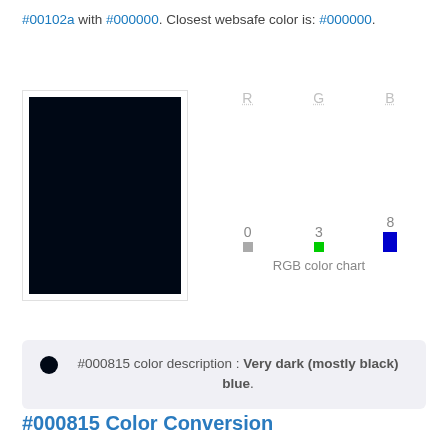#00102a with #000000. Closest websafe color is: #000000.
[Figure (other): A very dark navy/black color swatch (#000815) displayed as a large rectangle with a white border, alongside an RGB color chart showing R=0, G=3, B=8 values with colored indicator dots.]
#000815 color description : Very dark (mostly black) blue.
#000815 Color Conversion